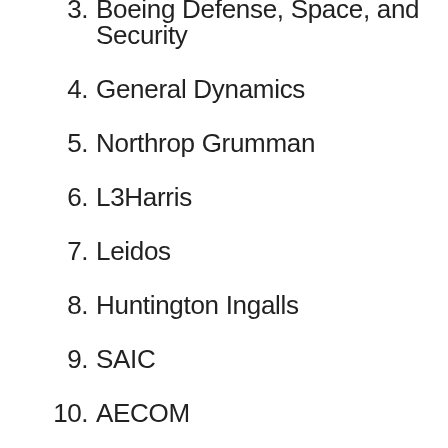3. Boeing Defense, Space, and Security
4. General Dynamics
5. Northrop Grumman
6. L3Harris
7. Leidos
8. Huntington Ingalls
9. SAIC
10. AECOM
11. Honeywell
12. Booz Allen Hamilton
13. CACI
14. General Electric
15. KBR